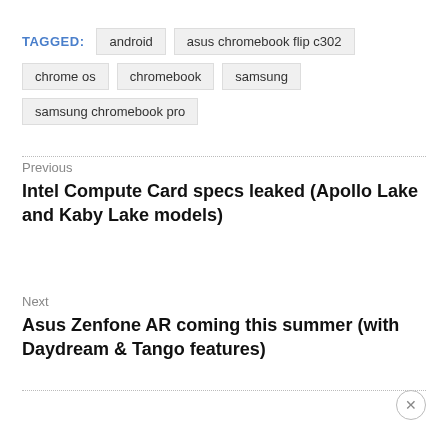TAGGED: android  asus chromebook flip c302  chrome os  chromebook  samsung  samsung chromebook pro
Previous
Intel Compute Card specs leaked (Apollo Lake and Kaby Lake models)
Next
Asus Zenfone AR coming this summer (with Daydream & Tango features)